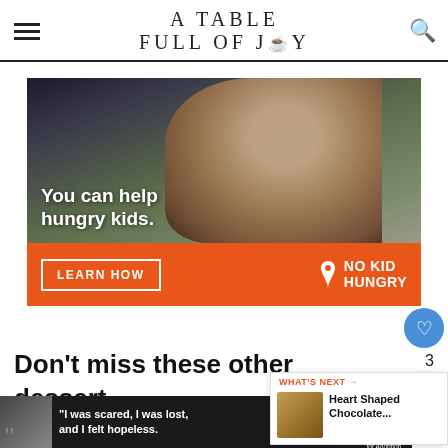A TABLE FULL OF JOY
[Figure (photo): Advertisement banner: photo of a child eating with text 'You can help hungry kids.' and orange bar below with 'LEARN HOW' button and 'NO KID HUNGRY' logo]
Don't miss these other dessert bars:
[Figure (infographic): What's Next widget showing 'Heart Shaped Chocolate...' with thumbnail]
[Figure (photo): Bottom advertisement strip: Dave Thomas Foundation for Adoption ad with quote 'I was scared, I was lost, and I felt hopeless.']